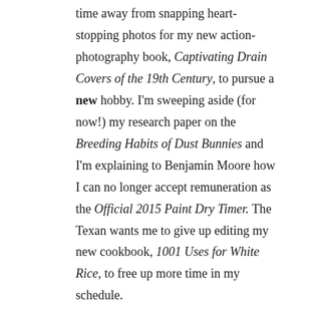time away from snapping heart-stopping photos for my new action-photography book, Captivating Drain Covers of the 19th Century, to pursue a new hobby. I'm sweeping aside (for now!) my research paper on the Breeding Habits of Dust Bunnies and I'm explaining to Benjamin Moore how I can no longer accept remuneration as the Official 2015 Paint Dry Timer. The Texan wants me to give up editing my new cookbook, 1001 Uses for White Rice, to free up more time in my schedule.